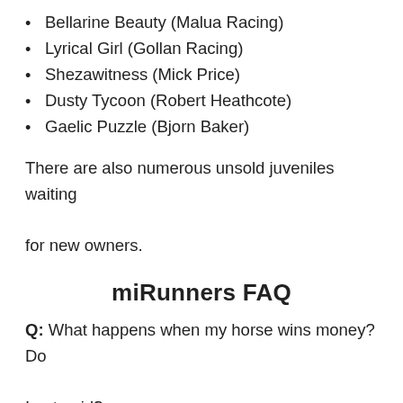Bellarine Beauty (Malua Racing)
Lyrical Girl (Gollan Racing)
Shezawitness (Mick Price)
Dusty Tycoon (Robert Heathcote)
Gaelic Puzzle (Bjorn Baker)
There are also numerous unsold juveniles waiting for new owners.
miRunners FAQ
Q: What happens when my horse wins money? Do I get paid?
A: Your prizemoney is paid out on a quarterly basis